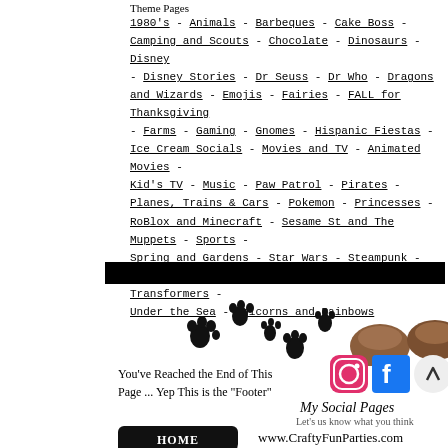Theme Pages
1980's - Animals - Barbeques - Cake Boss - Camping and Scouts - Chocolate - Dinosaurs - Disney - Disney Stories - Dr Seuss - Dr Who - Dragons and Wizards - Emojis - Fairies - FALL for Thanksgiving - Farms - Gaming - Gnomes - Hispanic Fiestas - Ice Cream Socials - Movies and TV - Animated Movies - Kid's TV - Music - Paw Patrol - Pirates - Planes, Trains & Cars - Pokemon - Princesses - RoBlox and Minecraft - Sesame St and The Muppets - Sports - Spring and Gardens - Star Wars - Steampunk - Summer and Beaches - Superheroes - Transformers - Under the Sea - Unicorns and Rainbows
[Figure (illustration): Black banner bar and illustration of paw prints with two brown bear/dog paws/feet]
You've Reached the End of This Page ... Yep This is the "Footer"
[Figure (logo): Instagram logo icon (pink), Facebook logo icon (blue), Pinterest logo icon (red), and a scroll-to-top circular button]
My Social Pages
Let's us know what you think
HOME
www.CraftyFunParties.com